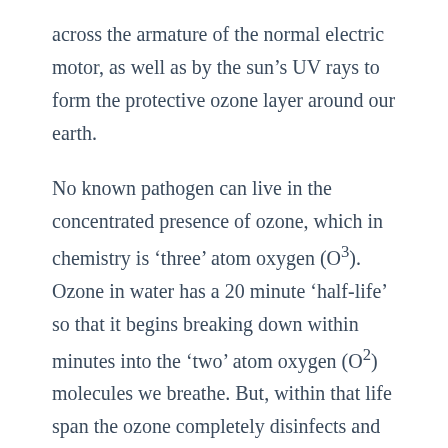across the armature of the normal electric motor, as well as by the sun’s UV rays to form the protective ozone layer around our earth.
No known pathogen can live in the concentrated presence of ozone, which in chemistry is ‘three’ atom oxygen (O³). Ozone in water has a 20 minute ‘half-life’ so that it begins breaking down within minutes into the ‘two’ atom oxygen (O²) molecules we breathe. But, within that life span the ozone completely disinfects and kills all known pathogens.
As an oxidant, 3 atom oxygen (ozone) is thousands of times stronger than 2 atom oxygen.